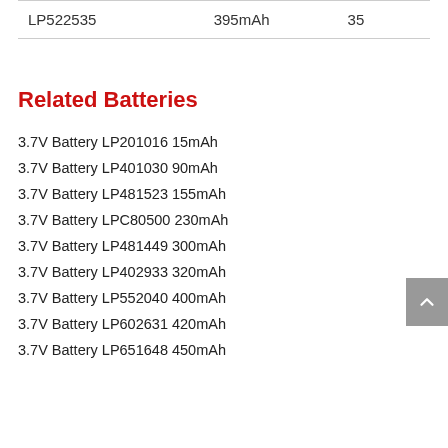| LP522535 | 395mAh | 35 |
Related Batteries
3.7V Battery LP201016 15mAh
3.7V Battery LP401030 90mAh
3.7V Battery LP481523 155mAh
3.7V Battery LPC80500 230mAh
3.7V Battery LP481449 300mAh
3.7V Battery LP402933 320mAh
3.7V Battery LP552040 400mAh
3.7V Battery LP602631 420mAh
3.7V Battery LP651648 450mAh